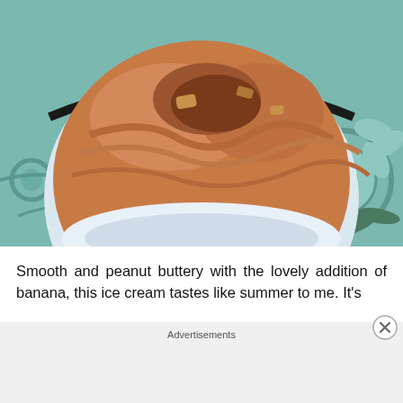[Figure (photo): Close-up photo of peanut butter banana ice cream in a round bowl sitting on a teal floral patterned surface. The ice cream is a warm caramel/brown color with a scooped-out section revealing the chunky interior. The bowl has a dark rim and a blue label stripe.]
Smooth and peanut buttery with the lovely addition of banana, this ice cream tastes like summer to me. It's
Advertisements